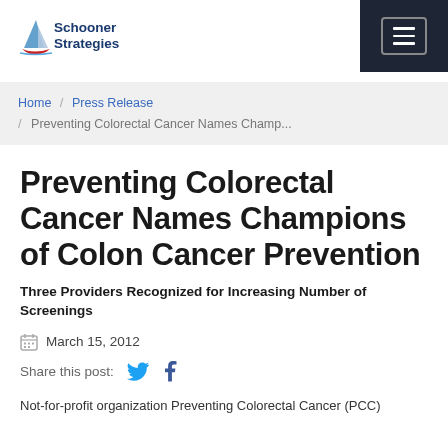[Figure (logo): Schooner Strategies logo with sailboat icon and blue text]
Home / Press Release / Preventing Colorectal Cancer Names Champ...
Preventing Colorectal Cancer Names Champions of Colon Cancer Prevention
Three Providers Recognized for Increasing Number of Screenings
March 15, 2012
Share this post:
Not-for-profit organization Preventing Colorectal Cancer (PCC)